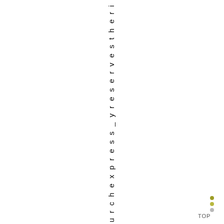durchexpress_lyreservestheri g
[Figure (other): Small navigation element with colored dots (olive/yellow and gray) and 'TOP' label in bottom-right area]